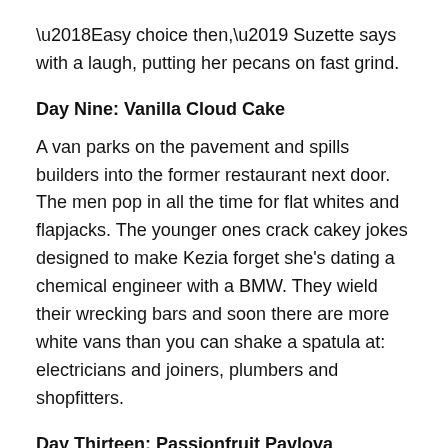‘Easy choice then,’ Suzette says with a laugh, putting her pecans on fast grind.
Day Nine: Vanilla Cloud Cake
A van parks on the pavement and spills builders into the former restaurant next door. The men pop in all the time for flat whites and flapjacks. The younger ones crack cakey jokes designed to make Kezia forget she’s dating a chemical engineer with a BMW. They wield their wrecking bars and soon there are more white vans than you can shake a spatula at: electricians and joiners, plumbers and shopfitters.
Day Thirteen: Passionfruit Pavlova
‘All these guys are great for business,’ Suzette says, getting out another tray of salted caramel tarts.